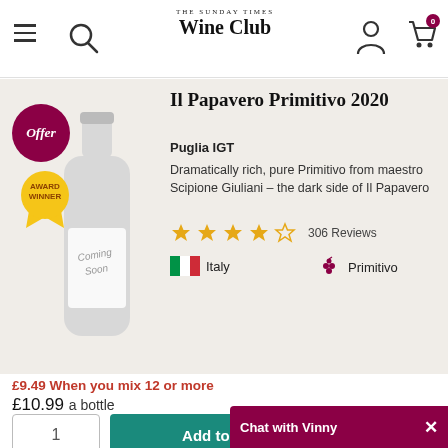THE SUNDAY TIMES Wine Club
Il Papavero Primitivo 2020
Puglia IGT
Dramatically rich, pure Primitivo from maestro Scipione Giuliani – the dark side of Il Papavero
306 Reviews
Italy
Primitivo
£9.49 When you mix 12 or more
£10.99 a bottle
Add to basket
Chat with Vinny